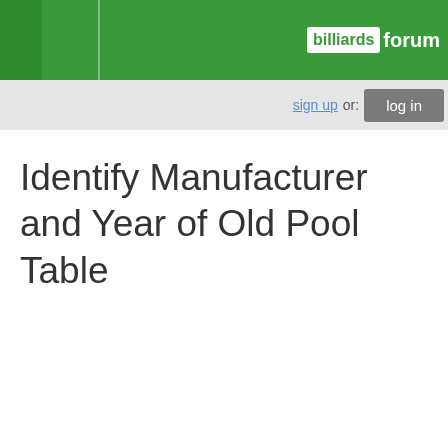billiards forum
sign up or: log in
Identify Manufacturer and Year of Old Pool Table